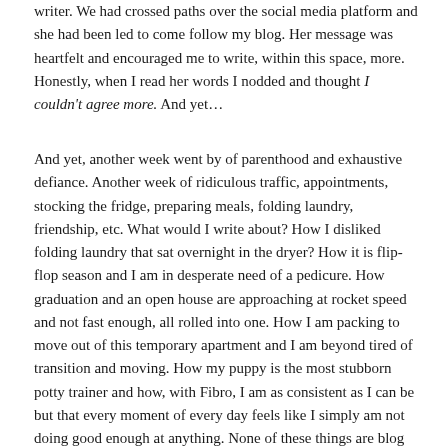writer. We had crossed paths over the social media platform and she had been led to come follow my blog. Her message was heartfelt and encouraged me to write, within this space, more. Honestly, when I read her words I nodded and thought I couldn't agree more. And yet...
And yet, another week went by of parenthood and exhaustive defiance. Another week of ridiculous traffic, appointments, stocking the fridge, preparing meals, folding laundry, friendship, etc. What would I write about? How I disliked folding laundry that sat overnight in the dryer? How it is flip-flop season and I am in desperate need of a pedicure. How graduation and an open house are approaching at rocket speed and not fast enough, all rolled into one. How I am packing to move out of this temporary apartment and I am beyond tired of transition and moving. How my puppy is the most stubborn potty trainer and how, with Fibro, I am as consistent as I can be but that every moment of every day feels like I simply am not doing good enough at anything. None of these things are blog worthy, dwell worthy, or really worth any thing at all. They are what they are. Some days are better than others.